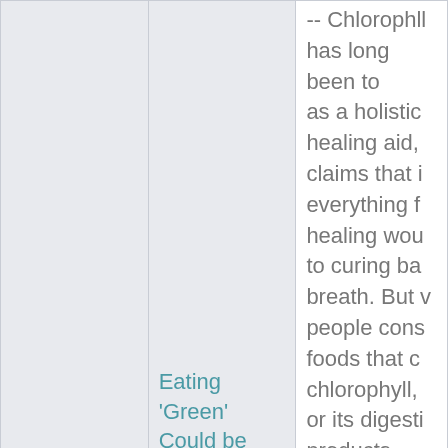| Date | Title | Excerpt |
| --- | --- | --- |
| 07/24/2000 | Eating 'Green' Could be Beneficial | -- Chlorophyll has long been touted as a holistic healing aid, with claims that it cures everything from healing wounds to curing bad breath. But while people consume foods that contain chlorophyll, or its digestive products -- absorbed lik... |